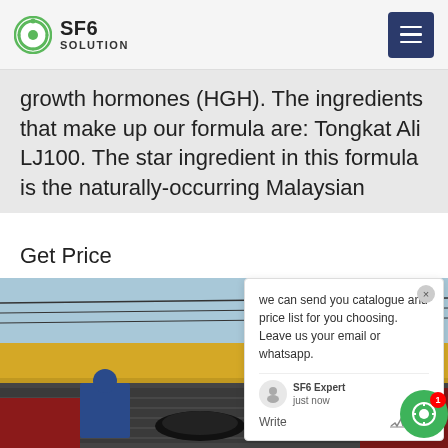SF6 SOLUTION
growth hormones (HGH). The ingredients that make up our formula are: Tongkat Ali LJ100. The star ingredient in this formula is the naturally-occurring Malaysian
Get Price
[Figure (photo): Industrial equipment photo showing yellow machinery with worker in blue coveralls and cables/hoses, outdoor industrial site]
we can send you catalogue and price list for you choosing. Leave us your email or whatsapp.
SF6 Expert   just now
Write